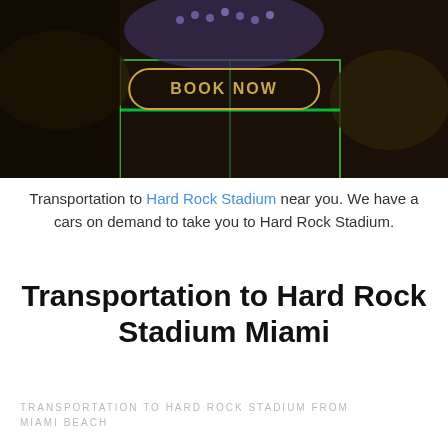[Figure (photo): Aerial night view of Hard Rock Stadium with crowds on the field, overlaid with a 'BOOK NOW' button styled with a gold border on a dark background]
Transportation to Hard Rock Stadium near you. We have a cars on demand to take you to Hard Rock Stadium.
Transportation to Hard Rock Stadium Miami
TRANSPORTATION TO HARD ROCK STADIUM FROM MIAMI BEACH